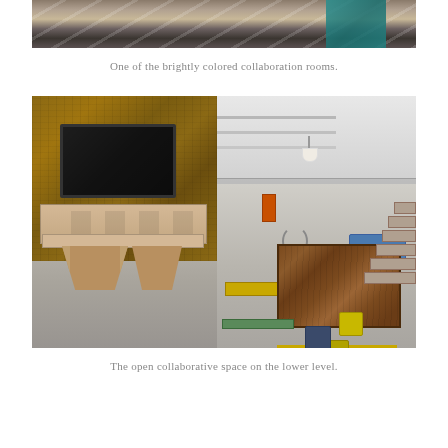[Figure (photo): Top portion of a photo showing a brightly colored collaboration room, with striped carpet/flooring and a teal/turquoise ceiling element visible.]
One of the brightly colored collaboration rooms.
[Figure (photo): Interior photo of a large open-plan office space with industrial design: a wood/cork feature wall with large video display, X-leg wooden tables on the left, a walnut conference table with yellow and dark blue chairs on the right, mezzanine level with glass railing above, white structural columns, hanging pendant lights, an orange door, a bicycle, a staircase, and yellow bench seating.]
The open collaborative space on the lower level.